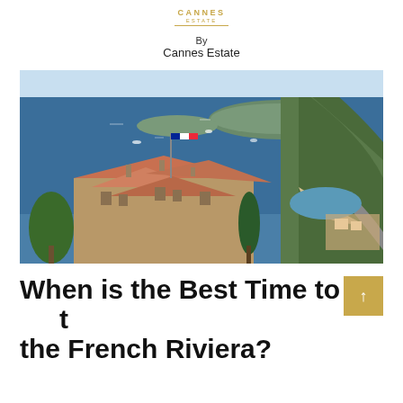CANNES ESTATE
By
Cannes Estate
[Figure (photo): Aerial coastal view of the French Riviera showing terracotta-roofed buildings with a French flag in the foreground, a sweeping bay with a curved beach, dense green hillside, and an island in the distance under blue skies.]
When is the Best Time to Visit the French Riviera?